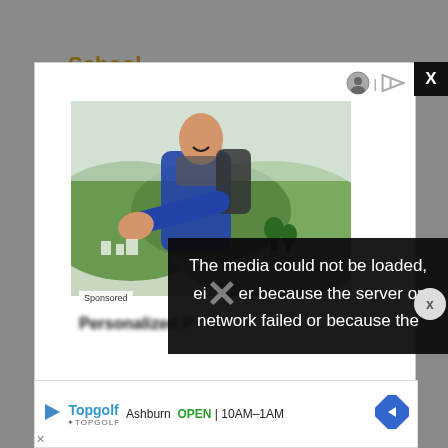School Website
[Figure (photo): Advertisement modal with hiker photo - man with backpack reaching out hand toward camera, green hillside background. Contains media error overlay: 'The media could not be loaded, either because the server or network failed or because the'. Sponsored label visible. Bottom shows Topgolf Ashburn OPEN 10AM-1AM ad banner.]
Sponsored
The media could not be loaded, either because the server or network failed or because the
Thus, the school used a
Radi...
curri...   RT